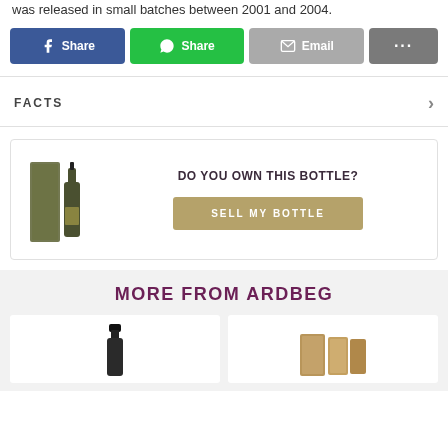was released in small batches between 2001 and 2004.
[Figure (screenshot): Social share buttons: Facebook Share (blue), WhatsApp Share (green), Email (grey), More options (dark grey with ellipsis)]
FACTS
[Figure (infographic): Sell my bottle box with Ardbeg bottle image, text 'DO YOU OWN THIS BOTTLE?' and a tan 'SELL MY BOTTLE' button]
MORE FROM ARDBEG
[Figure (photo): Two product cards showing Ardbeg whisky bottles]